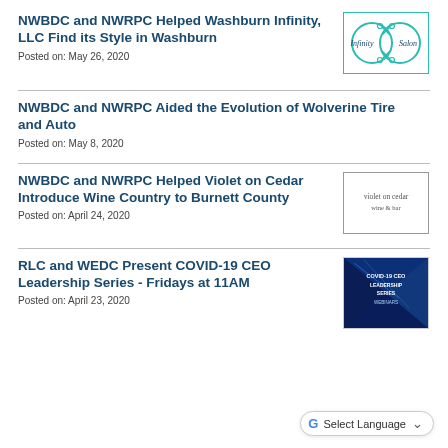NWBDC and NWRPC Helped Washburn Infinity, LLC Find its Style in Washburn
Posted on: May 26, 2020
[Figure (logo): Infinity Salon logo — two overlapping circles with scissors motif and cursive text 'Infinity Salon' in teal]
NWBDC and NWRPC Aided the Evolution of Wolverine Tire and Auto
Posted on: May 8, 2020
NWBDC and NWRPC Helped Violet on Cedar Introduce Wine Country to Burnett County
Posted on: April 24, 2020
[Figure (logo): Violet on Cedar wine and bar logo — small text 'violet on cedar wine & bar' in a rectangular border]
RLC and WEDC Present COVID-19 CEO Leadership Series - Fridays at 11AM
Posted on: April 23, 2020
[Figure (photo): Dark blue promotional image for COVID-19 CEO Leadership Series Webinars]